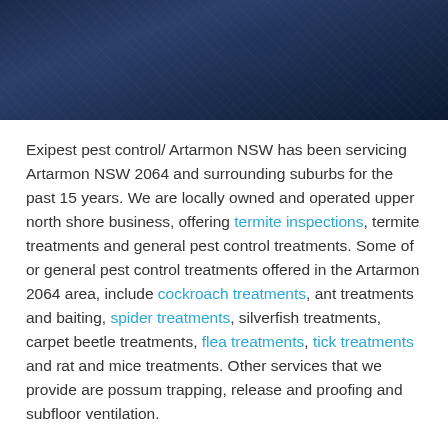[Figure (photo): Dark blue textured background image, appears to show dark blue foliage or organic material from above]
Exipest pest control/ Artarmon NSW has been servicing Artarmon NSW 2064 and surrounding suburbs for the past 15 years. We are locally owned and operated upper north shore business, offering termite inspections, termite treatments and general pest control treatments. Some of or general pest control treatments offered in the Artarmon 2064 area, include cockroach treatments, ant treatments and baiting, spider treatments, silverfish treatments, carpet beetle treatments, flea treatments, tick treatments and rat and mice treatments. Other services that we provide are possum trapping, release and proofing and subfloor ventilation.